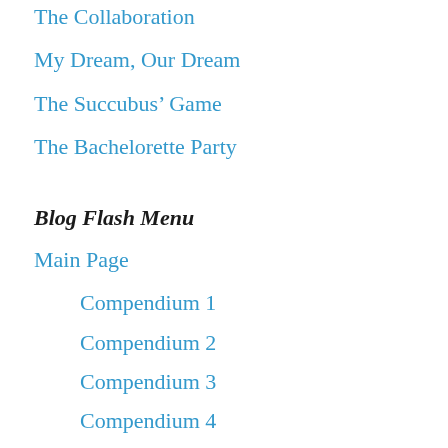The Collaboration
My Dream, Our Dream
The Succubus’ Game
The Bachelorette Party
Blog Flash Menu
Main Page
Compendium 1
Compendium 2
Compendium 3
Compendium 4
Compendium 5
Compendium 6
Compendium 7